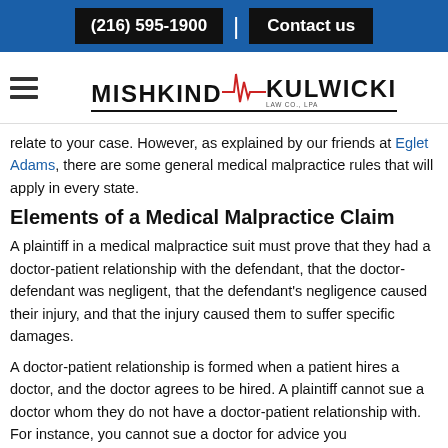(216) 595-1900 | Contact us
[Figure (logo): Mishkind Kulwicki Law Co., LPA logo with red heartbeat waveform graphic between the two names, underlined, with 'LAW CO., LPA' in small text]
relate to your case. However, as explained by our friends at Eglet Adams, there are some general medical malpractice rules that will apply in every state.
Elements of a Medical Malpractice Claim
A plaintiff in a medical malpractice suit must prove that they had a doctor-patient relationship with the defendant, that the doctor-defendant was negligent, that the defendant's negligence caused their injury, and that the injury caused them to suffer specific damages.
A doctor-patient relationship is formed when a patient hires a doctor, and the doctor agrees to be hired. A plaintiff cannot sue a doctor whom they do not have a doctor-patient relationship with. For instance, you cannot sue a doctor for advice you